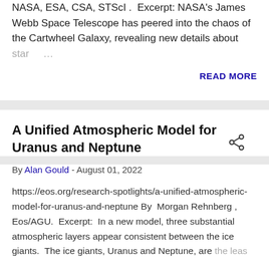captures stellar gymnastics in the Cartwheel galaxy By NASA, ESA, CSA, STScI . Excerpt: NASA's James Webb Space Telescope has peered into the chaos of the Cartwheel Galaxy, revealing new details about star ...
READ MORE
A Unified Atmospheric Model for Uranus and Neptune
By Alan Gould - August 01, 2022
https://eos.org/research-spotlights/a-unified-atmospheric-model-for-uranus-and-neptune By  Morgan Rehnberg , Eos/AGU.  Excerpt:  In a new model, three substantial atmospheric layers appear consistent between the ice giants.  The ice giants, Uranus and Neptune, are the leas ...
READ MORE